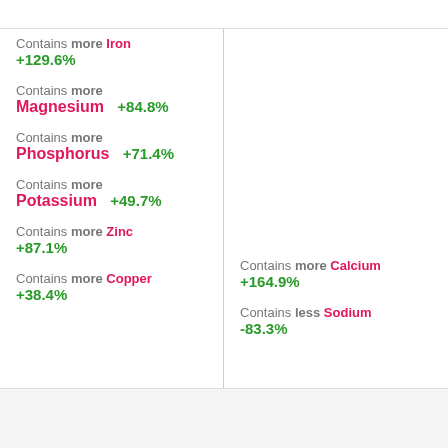Contains more Iron +129.6%
Contains more Magnesium +84.8%
Contains more Phosphorus +71.4%
Contains more Potassium +49.7%
Contains more Zinc +87.1%
Contains more Copper +38.4%
Contains more Calcium +164.9%
Contains less Sodium -83.3%